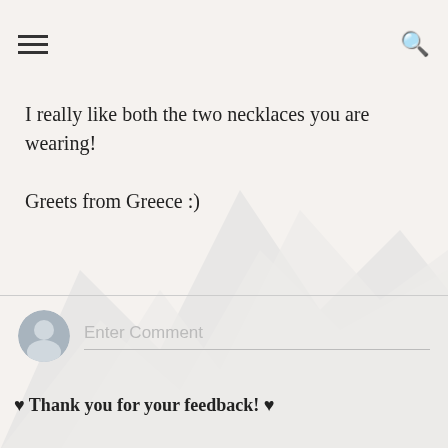≡  🔍
I really like both the two necklaces you are wearing!

Greets from Greece :)
Reply
Enter Comment
♥ Thank you for your feedback! ♥